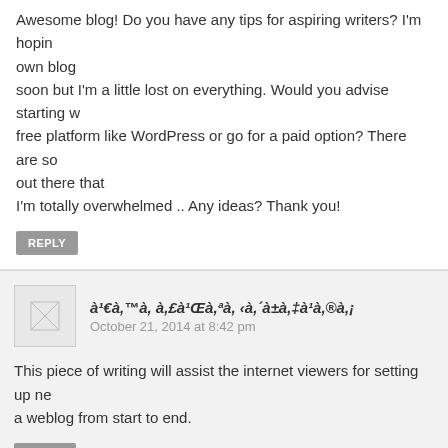Awesome blog! Do you have any tips for aspiring writers? I'm hoping to start my own blog soon but I'm a little lost on everything. Would you advise starting with a free platform like WordPress or go for a paid option? There are so many options out there that I'm totally overwhelmed .. Any ideas? Thank you!
REPLY
à¹€à™à£à¹Œà®àà´à±àà®àà¡ — October 21, 2014 at 8:42 pm
This piece of writing will assist the internet viewers for setting up new a weblog from start to end.
REPLY
Joan — October 22, 2014 at 3:14 am
If you are going for most excellent contents like I do, simply pay a